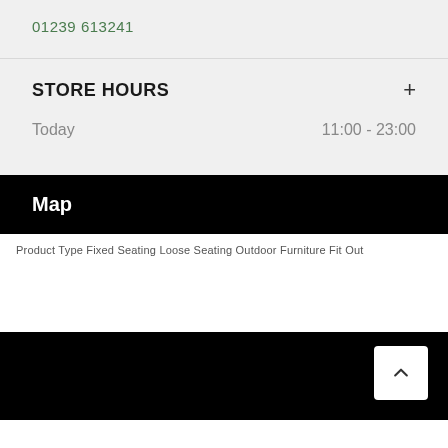01239 613241
STORE HOURS
Today   11:00 - 23:00
Map
Product Type Fixed Seating Loose Seating Outdoor Furniture Fit Out